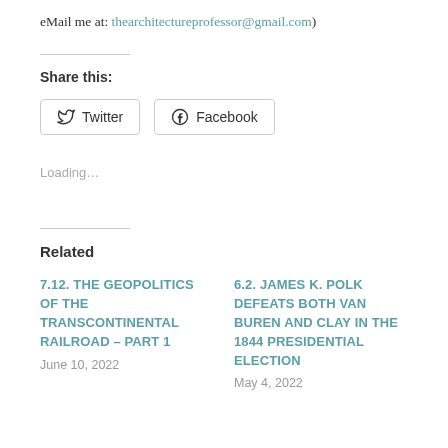eMail me at: thearchitectureprofessor@gmail.com)
Share this:
[Figure (other): Social share buttons: Twitter and Facebook]
Loading…
Related
7.12. THE GEOPOLITICS OF THE TRANSCONTINENTAL RAILROAD – PART 1
June 10, 2022
6.2. JAMES K. POLK DEFEATS BOTH VAN BUREN AND CLAY IN THE 1844 PRESIDENTIAL ELECTION
May 4, 2022